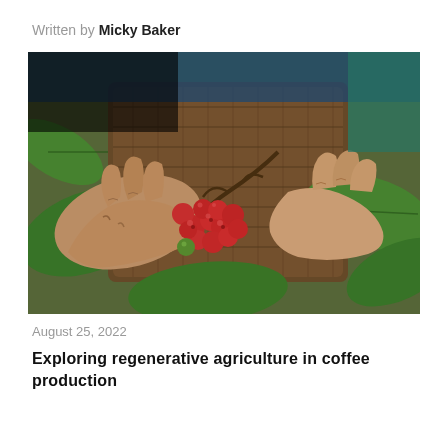Written by Micky Baker
[Figure (photo): Close-up photograph of weathered hands picking red coffee cherries from a branch, with large green leaves visible and a wicker basket in the background. The person is wearing a blue and teal clothing.]
August 25, 2022
Exploring regenerative agriculture in coffee production